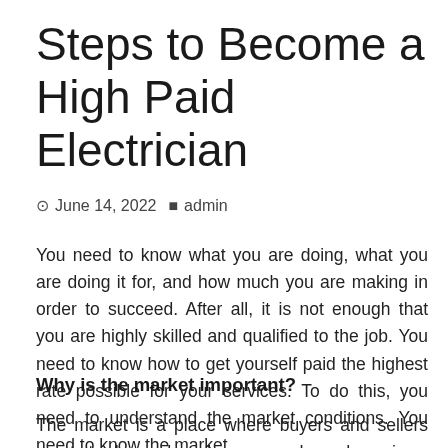Steps to Become a High Paid Electrician
⊙ June 14, 2022  ▲ admin
You need to know what you are doing, what you are doing it for, and how much you are making in order to succeed. After all, it is not enough that you are highly skilled and qualified to the job. You need to know how to get yourself paid the highest rate possible for your services. To do this, you need to understand the market conditions. You need to know the market.
Why is the market important?
The market is a place where buyers and sellers meet, trade, and exchange goods and services. This is the same